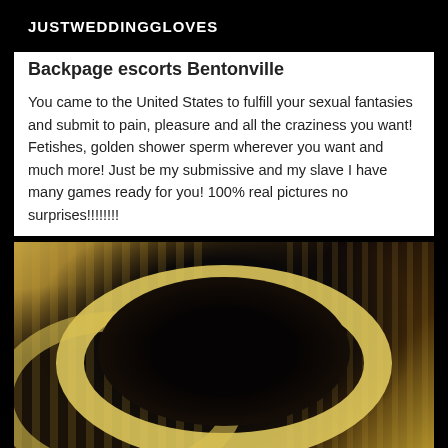JUSTWEDDINGGLOVES
Backpage escorts Bentonville
You came to the United States to fulfill your sexual fantasies and submit to pain, pleasure and all the craziness you want! Fetishes, golden shower sperm wherever you want and much more! Just be my submissive and my slave I have many games ready for you! 100% real pictures no surprises!!!!!!!!
[Figure (photo): A sepia-toned photograph showing a person lying down, with curved yellow/gold shapes and dark areas, zebra-stripe patterned fabric visible]